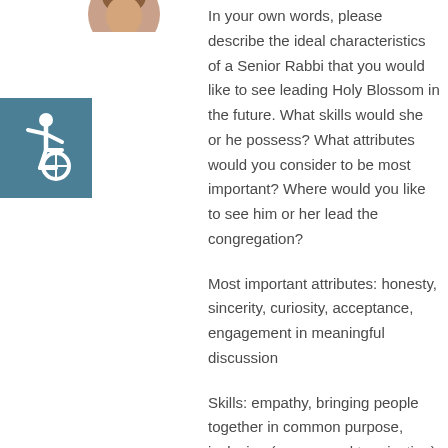[Figure (photo): Circular avatar photo of a person (partially visible at top), and a teal/blue accessibility icon square below it]
In your own words, please describe the ideal characteristics of a Senior Rabbi that you would like to see leading Holy Blossom in the future. What skills would she or he possess? What attributes would you consider to be most important? Where would you like to see him or her lead the congregation?
Most important attributes: honesty, sincerity, curiosity, acceptance, engagement in meaningful discussion
Skills: empathy, bringing people together in common purpose, inclusion (as opposed to rejection),